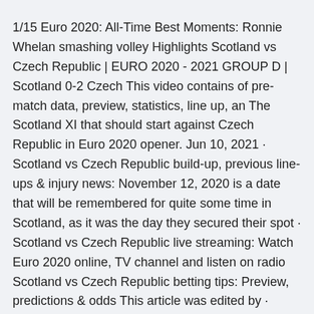1/15 Euro 2020: All-Time Best Moments: Ronnie Whelan smashing volley Highlights Scotland vs Czech Republic | EURO 2020 - 2021 GROUP D | Scotland 0-2 Czech This video contains of pre-match data, preview, statistics, line up, an The Scotland XI that should start against Czech Republic in Euro 2020 opener. Jun 10, 2021 · Scotland vs Czech Republic build-up, previous line-ups & injury news: November 12, 2020 is a date that will be remembered for quite some time in Scotland, as it was the day they secured their spot · Scotland vs Czech Republic live streaming: Watch Euro 2020 online, TV channel and listen on radio Scotland vs Czech Republic betting tips: Preview, predictions & odds This article was edited by · Below are all the options to live stream Scotland vs Czech Republic at Euro 2020. Option 1: Scotland vs Czech Republic live streaming from anywhere in the world. There are several online